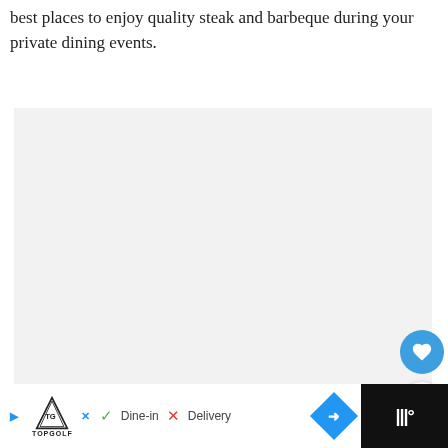best places to enjoy quality steak and barbeque during your private dining events.
[Figure (photo): Large image placeholder area with light gray background and loading dots indicator]
[Figure (screenshot): What's Next panel showing thumbnail and title 'Top Ten Starbucks...']
[Figure (infographic): Advertisement bar at bottom: TopGolf logo, Dine-in checkmark, Delivery X mark, navigation arrow icon, and WHAT mobile app logo]